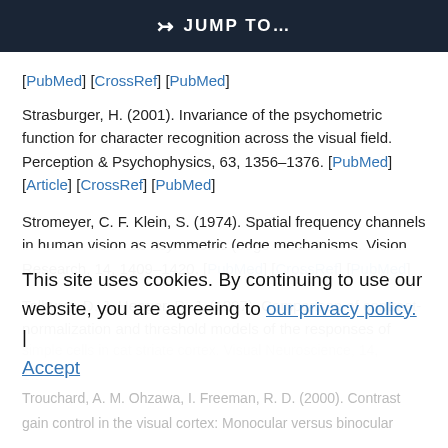JUMP TO…
[PubMed] [CrossRef] [PubMed]
Strasburger, H. (2001). Invariance of the psychometric function for character recognition across the visual field. Perception & Psychophysics, 63, 1356–1376. [PubMed] [Article] [CrossRef] [PubMed]
Stromeyer, C. F. Klein, S. (1974). Spatial frequency channels in human vision as asymmetric (edge mechanisms. Vision Research, 14, 1409–1420. [PubMed] [CrossRef] [PubMed]
Tolhurst, D. J. Heeger, D. J. (1997). Comparison of contrast-normalization and threshold models of the responses of simple cells in cat striate cortex. Visual Neuroscience, 14, 1…
This site uses cookies. By continuing to use our website, you are agreeing to our privacy policy. Accept